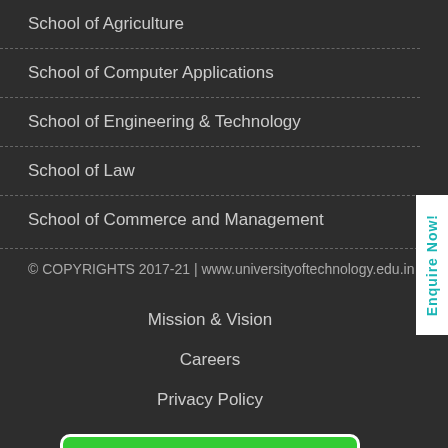School of Agriculture
School of Computer Applications
School of Engineering & Technology
School of Law
School of Commerce and Management
© COPYRIGHTS 2017-21 | www.universityoftechnology.edu.in
Mission & Vision
Careers
Privacy Policy
ADMISSION FORM
News
UOT Webmail